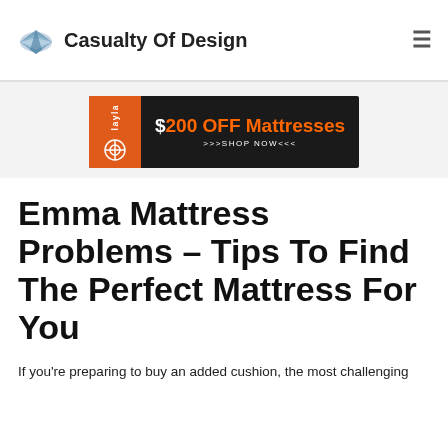Casualty Of Design
[Figure (illustration): Layla mattress advertisement banner: orange and black background with '$200 OFF Mattresses >>>SHOP NOW<<<' text]
Emma Mattress Problems – Tips To Find The Perfect Mattress For You
If you're preparing to buy an added cushion, the most challenging